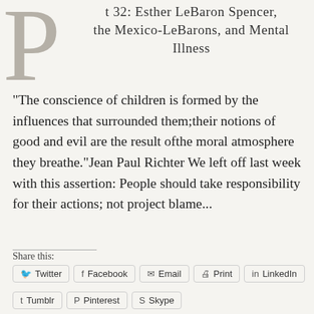t 32: Esther LeBaron Spencer, the Mexico-LeBarons, and Mental Illness
"The conscience of children is formed by the influences that surrounded them;their notions of good and evil are the result ofthe moral atmosphere they breathe."Jean Paul Richter We left off last week with this assertion: People should take responsibility for their actions; not project blame...
Share this: